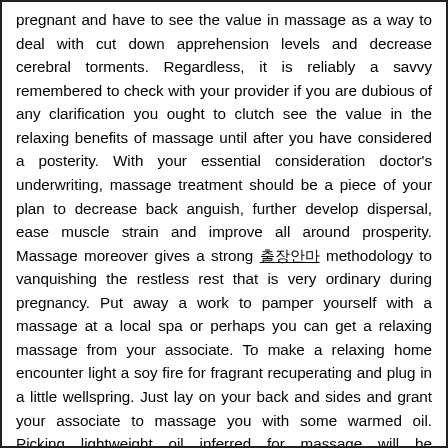pregnant and have to see the value in massage as a way to deal with cut down apprehension levels and decrease cerebral torments. Regardless, it is reliably a savvy remembered to check with your provider if you are dubious of any clarification you ought to clutch see the value in the relaxing benefits of massage until after you have considered a posterity. With your essential consideration doctor's underwriting, massage treatment should be a piece of your plan to decrease back anguish, further develop dispersal, ease muscle strain and improve all around prosperity. Massage moreover gives a strong 출장안마 methodology to vanquishing the restless rest that is very ordinary during pregnancy. Put away a work to pamper yourself with a massage at a local spa or perhaps you can get a relaxing massage from your associate. To make a relaxing home encounter light a soy fire for fragrant recuperating and plug in a little wellspring. Just lay on your back and sides and grant your associate to massage you with some warmed oil. Picking lightweight oil inferred for massage will be progressively penetrable similarly as safeguard you from feeling all tenacious a brief time frame later.